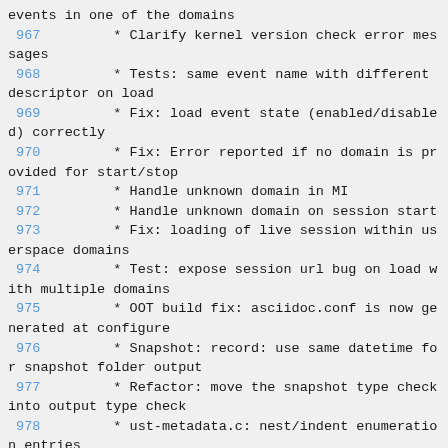events in one of the domains
967         * Clarify kernel version check error messages
968         * Tests: same event name with different descriptor on load
969         * Fix: load event state (enabled/disabled) correctly
970         * Fix: Error reported if no domain is provided for start/stop
971         * Handle unknown domain in MI
972         * Handle unknown domain on session start
973         * Fix: loading of live session within userspace domains
974         * Test: expose session url bug on load with multiple domains
975         * OOT build fix: asciidoc.conf is now generated at configure
976         * Snapshot: record: use same datetime for snapshot folder output
977         * Refactor: move the snapshot type check into output type check
978         * ust-metadata.c: nest/indent enumeration entries
979         * lttng.c: show basic help when no arguments are provided